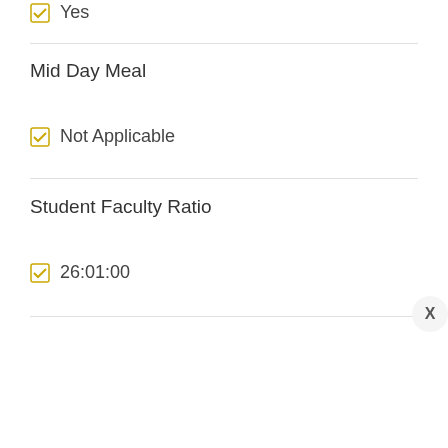Yes
Mid Day Meal
Not Applicable
Student Faculty Ratio
26:01:00